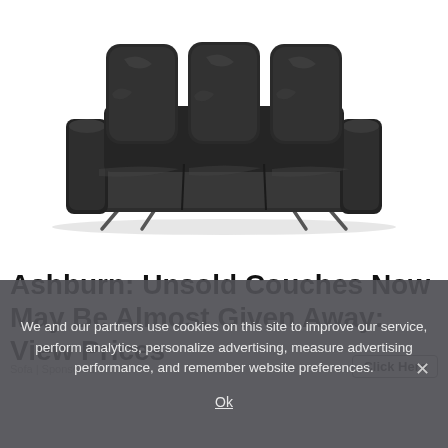[Figure (photo): A dark charcoal/black leather three-seat sofa with three back cushions and three seat cushions, supported by metallic angular legs, shown on a white background.]
Ashburn: Unsold Couches Now May Be Almost Given Away: View Prices
We and our partners use cookies on this site to improve our service, perform analytics, personalize advertising, measure advertising performance, and remember website preferences.
Ok